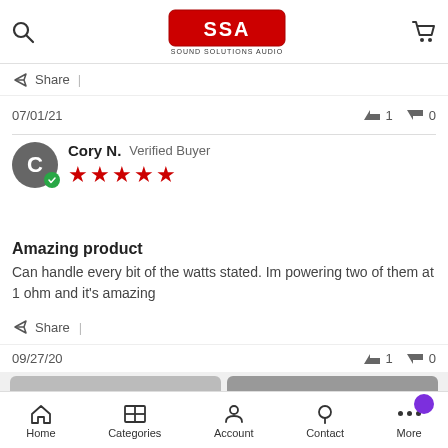Sound Solutions Audio - SSA header with search and cart icons
Share |
07/01/21  👍 1  👎 0
Cory N. Verified Buyer ★★★★★
Amazing product
Can handle every bit of the watts stated. Im powering two of them at 1 ohm and it's amazing
Share |
09/27/20  👍 1  👎 0
ADD TO CART  BUY NOW
Home  Categories  Account  Contact  More